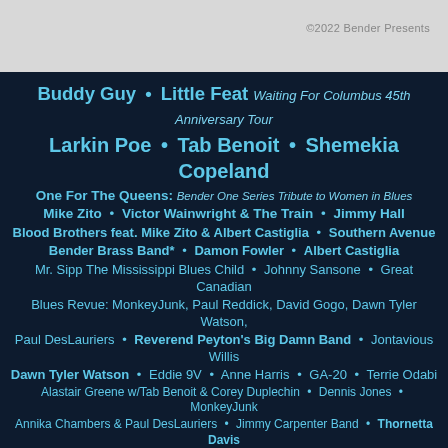©2022 Bender Presents
Buddy Guy • Little Feat Waiting For Columbus 45th Anniversary Tour
Larkin Poe • Tab Benoit • Shemekia Copeland
One For The Queens: Bender One Series Tribute to Women in Blues
Mike Zito • Victor Wainwright & The Train • Jimmy Hall
Blood Brothers feat. Mike Zito & Albert Castiglia • Southern Avenue
Bender Brass Band* • Damon Fowler • Albert Castiglia
Mr. Sipp The Mississippi Blues Child • Johnny Sansone • Great Canadian
Blues Revue: MonkeyJunk, Paul Reddick, David Gogo, Dawn Tyler Watson,
Paul DesLauriers • Reverend Peyton's Big Damn Band • Jontavious Willis
Dawn Tyler Watson • Eddie 9V • Anne Harris • GA-20 • Terrie Odabi
Alastair Greene w/Tab Benoit & Corey Duplechin • Dennis Jones • MonkeyJunk
Annika Chambers & Paul DesLauriers • Jimmy Carpenter Band • Thornetta Davis
Leon Blue • Marquise Knox • Altered Five Blues Band • Kat Riggins
Steve Marriner • Cristina Vane • Markus James and The Wassonrai • Rae Gordon
Sunday Gospel w/ Mr Sipp & Friends • Grateful Blues feat. Albert Castiglia and